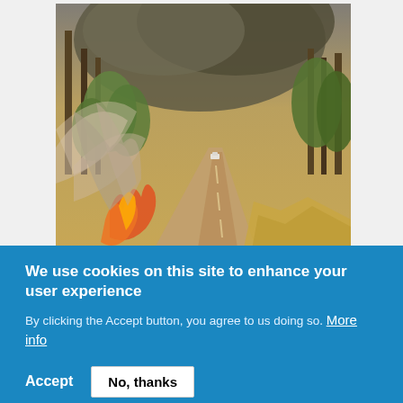[Figure (photo): Wildfire scene showing a road with a car driving through thick smoke and flames burning on the left side, surrounded by trees and a smoky sky]
Emily Chen
Wednesday, December 1, 2021
Climate change-related stressors are expected to drive
We use cookies on this site to enhance your user experience
By clicking the Accept button, you agree to us doing so. More info
Accept
No, thanks